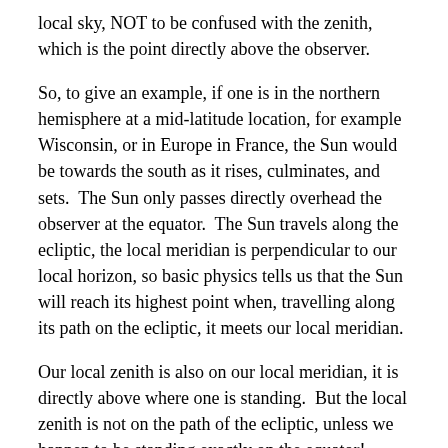local sky, NOT to be confused with the zenith, which is the point directly above the observer.
So, to give an example, if one is in the northern hemisphere at a mid-latitude location, for example Wisconsin, or in Europe in France, the Sun would be towards the south as it rises, culminates, and sets.  The Sun only passes directly overhead the observer at the equator.  The Sun travels along the ecliptic, the local meridian is perpendicular to our local horizon, so basic physics tells us that the Sun will reach its highest point when, travelling along its path on the ecliptic, it meets our local meridian.
Our local zenith is also on our local meridian, it is directly above where one is standing.  But the local zenith is not on the path of the ecliptic, unless we happen to be standing exactly on the equator!